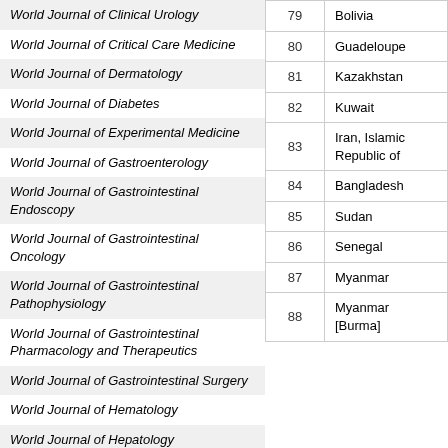| Journal Name |
| --- |
| World Journal of Clinical Urology |
| World Journal of Critical Care Medicine |
| World Journal of Dermatology |
| World Journal of Diabetes |
| World Journal of Experimental Medicine |
| World Journal of Gastroenterology |
| World Journal of Gastrointestinal Endoscopy |
| World Journal of Gastrointestinal Oncology |
| World Journal of Gastrointestinal Pathophysiology |
| World Journal of Gastrointestinal Pharmacology and Therapeutics |
| World Journal of Gastrointestinal Surgery |
| World Journal of Hematology |
| World Journal of Hepatology |
| World Journal of Hypertension |
| World Journal of Immunology |
| World Journal of Medical Genetics |
| # | Country |
| --- | --- |
| 79 | Bolivia |
| 80 | Guadeloupe |
| 81 | Kazakhstan |
| 82 | Kuwait |
| 83 | Iran, Islamic Republic of |
| 84 | Bangladesh |
| 85 | Sudan |
| 86 | Senegal |
| 87 | Myanmar |
| 88 | Myanmar [Burma] |